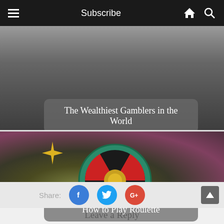Subscribe
[Figure (photo): Dark grey background image with overlay — article thumbnail for 'The Wealthiest Gamblers in the World']
The Wealthiest Gamblers in the World
[Figure (photo): Roulette wheel image with colourful dark background — article thumbnail for 'How to Play Roulette']
How to Play Roulette
Share:
Leave a Reply